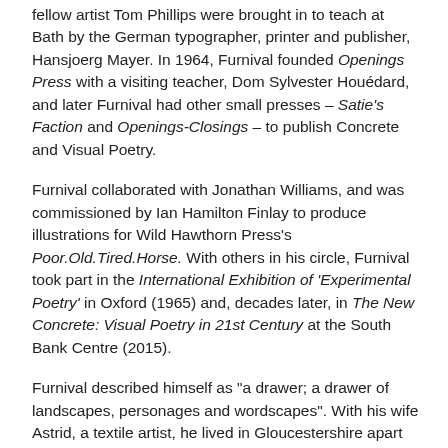fellow artist Tom Phillips were brought in to teach at Bath by the German typographer, printer and publisher, Hansjoerg Mayer. In 1964, Furnival founded Openings Press with a visiting teacher, Dom Sylvester Houédard, and later Furnival had other small presses – Satie's Faction and Openings-Closings – to publish Concrete and Visual Poetry.
Furnival collaborated with Jonathan Williams, and was commissioned by Ian Hamilton Finlay to produce illustrations for Wild Hawthorn Press's Poor.Old.Tired.Horse. With others in his circle, Furnival took part in the International Exhibition of 'Experimental Poetry' in Oxford (1965) and, decades later, in The New Concrete: Visual Poetry in 21st Century at the South Bank Centre (2015).
Furnival described himself as "a drawer; a drawer of landscapes, personages and wordscapes". With his wife Astrid, a textile artist, he lived in Gloucestershire apart from a decade in France from 2002. He exhibited internationally and his work is held in many public collections, including the Arts Council of Great Britain; Tate; the British Council; Getty collection, Los Angeles; Sackner Archive of Concrete and Visual Poetry, Miami; and the British Museum.